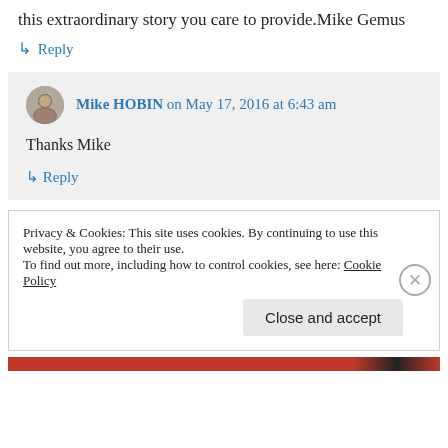this extraordinary story you care to provide.Mike Gemus
↳ Reply
Mike HOBIN on May 17, 2016 at 6:43 am
Thanks Mike
↳ Reply
Privacy & Cookies: This site uses cookies. By continuing to use this website, you agree to their use.
To find out more, including how to control cookies, see here: Cookie Policy
Close and accept